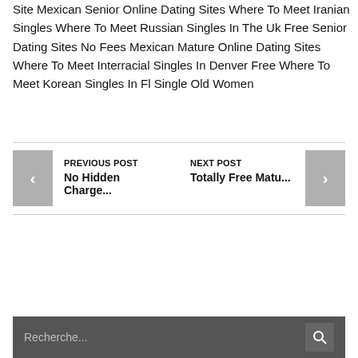Site Mexican Senior Online Dating Sites Where To Meet Iranian Singles Where To Meet Russian Singles In The Uk Free Senior Dating Sites No Fees Mexican Mature Online Dating Sites Where To Meet Interracial Singles In Denver Free Where To Meet Korean Singles In Fl Single Old Women
PREVIOUS POST No Hidden Charge... NEXT POST Totally Free Matu...
Recherche...